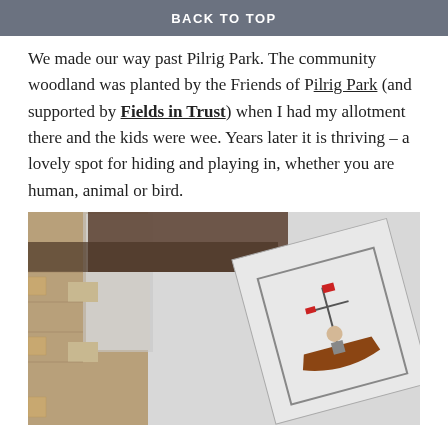BACK TO TOP
We made our way past Pilrig Park. The community woodland was planted by the Friends of Pilrig Park (and supported by Fields in Trust) when I had my allotment there and the kids were wee. Years later it is thriving – a lovely spot for hiding and playing in, whether you are human, animal or bird.
[Figure (photo): Photograph looking up at a stone building facade with a flag or banner displaying a heraldic coat of arms featuring a ship, hanging from the wall against a grey sky.]